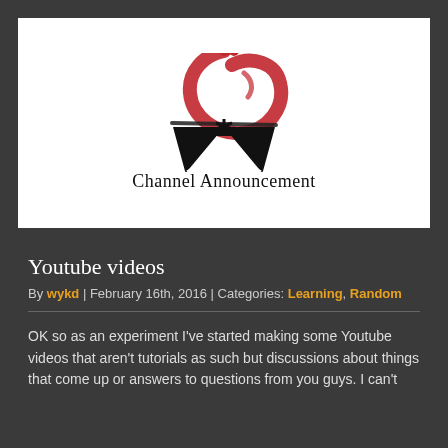[Figure (logo): Channel logo with a red circular brush stroke C shape on top, and a black stylized W shape below it, with the text 'Channel Announcement' beneath in serif font]
Youtube videos
By wykd | February 16th, 2016 | Categories: Learning, Random
OK so as an experiment I've started making some Youtube videos that aren't tutorials as such but discussions about things that come up or answers to questions from you guys. I can't